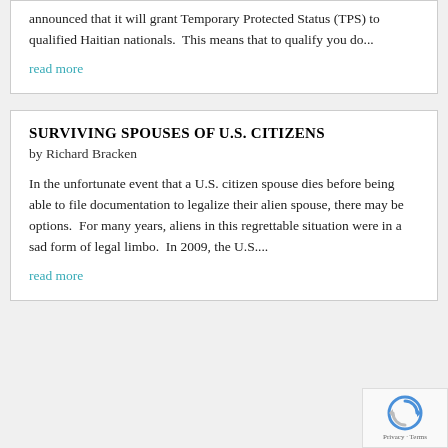announced that it will grant Temporary Protected Status (TPS) to qualified Haitian nationals.  This means that to qualify you do...
read more
SURVIVING SPOUSES OF U.S. CITIZENS
by Richard Bracken
In the unfortunate event that a U.S. citizen spouse dies before being able to file documentation to legalize their alien spouse, there may be options.  For many years, aliens in this regrettable situation were in a sad form of legal limbo.  In 2009, the U.S....
read more